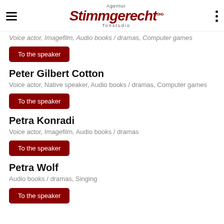Agentur Stimmgerecht OHG Tonstudio
Voice actor, Imagefilm, Audio books / dramas, Computer games
To the speaker
Peter Gilbert Cotton
Voice actor, Native speaker, Audio books / dramas, Computer games
To the speaker
Petra Konradi
Voice actor, Imagefilm, Audio books / dramas
To the speaker
Petra Wolf
Audio books / dramas, Singing
To the speaker